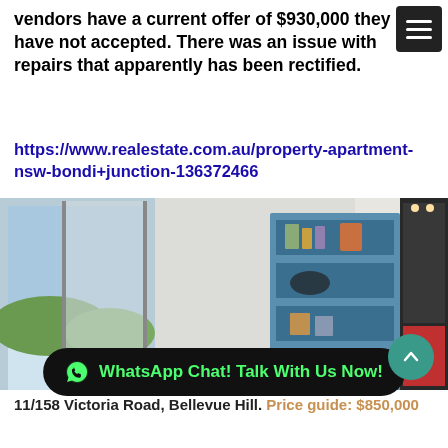vendors have a current offer of $930,000 they have not accepted. There was an issue with repairs that apparently has been rectified.
https://www.realestate.com.au/property-apartment-nsw-bondi+junction-136372466
[Figure (photo): Interior photo of an apartment living room with a brown sofa with blue and grey cushions, a teal throw blanket, a round side table, blue built-in shelving unit, and a kitchen visible on the right.]
WhatsApp Chat! Talk With Us Now!
11/158 Victoria Road, Bellevue Hill. Price guide: $850,000